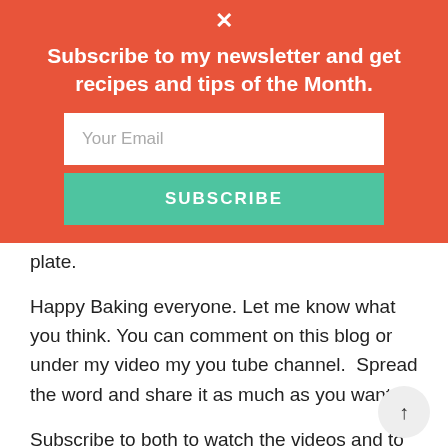[Figure (infographic): Newsletter subscription overlay banner with coral/red-orange background. Contains a white X close button at top, bold white headline text, a white email input field with placeholder 'Your Email', and a teal/green SUBSCRIBE button.]
plate.
Happy Baking everyone. Let me know what you think. You can comment on this blog or under my video my you tube channel.  Spread the word and share it as much as you want
Subscribe to both to watch the videos and to get the full recipes and tips.
Au revoir and happy baking